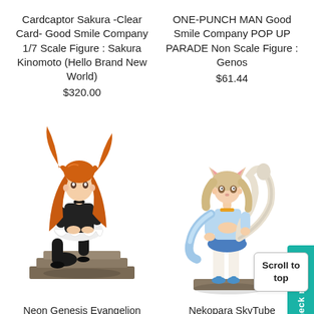Cardcaptor Sakura -Clear Card- Good Smile Company 1/7 Scale Figure : Sakura Kinomoto (Hello Brand New World)
$320.00
ONE-PUNCH MAN Good Smile Company POP UP PARADE Non Scale Figure : Genos
$61.44
[Figure (photo): Anime figure of a girl with orange hair sitting on steps, wearing a black and white maid outfit with black stockings]
[Figure (photo): Anime cat-girl figure in a blue outfit standing on a base, with a curling tail]
Neon Genesis Evangelion
Nekopara SkyTube